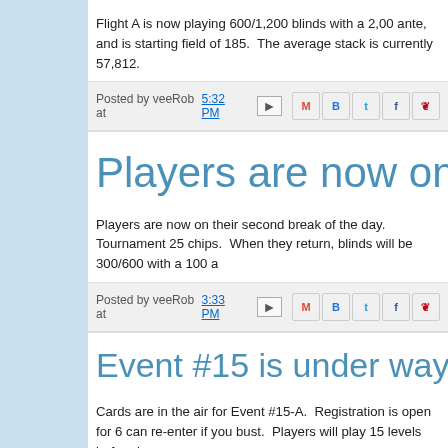Flight A is now playing 600/1,200 blinds with a 2,00 ante, and is starting field of 185.  The average stack is currently 57,812.
Posted by veeRob at 5:32 PM
Players are now on bre...
Players are now on their second break of the day.   Tournament 25 chips.  When they return, blinds will be 300/600 with a 100 a...
Posted by veeRob at 3:33 PM
Event #15 is under way...
Cards are in the air for Event #15-A.  Registration is open for 6 can re-enter if you bust.  Players will play 15 levels before bagg...